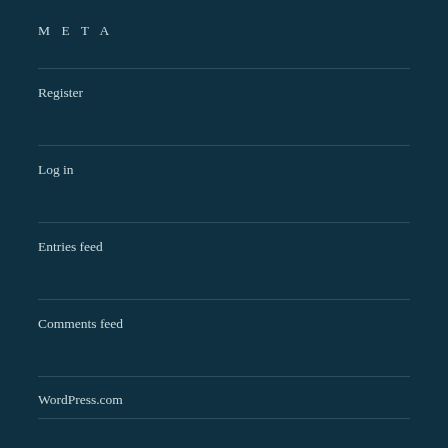META
Register
Log in
Entries feed
Comments feed
WordPress.com